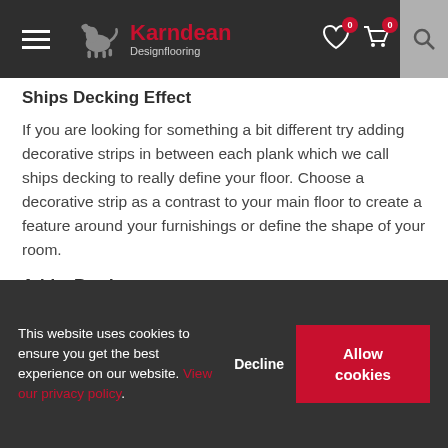Karndean Designflooring
Ships Decking Effect
If you are looking for something a bit different try adding decorative strips in between each plank which we call ships decking to really define your floor. Choose a decorative strip as a contrast to your main floor to create a feature around your furnishings or define the shape of your room.
Add a Border
This website uses cookies to ensure you get the best experience on our website. View our privacy policy.